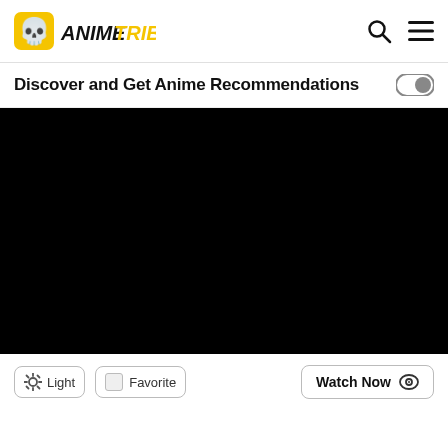AnimeTRIBES — logo, search icon, menu icon
Discover and Get Anime Recommendations
[Figure (screenshot): Large black rectangular area representing a dark/loading anime content display area]
Light   Favorite   Watch Now